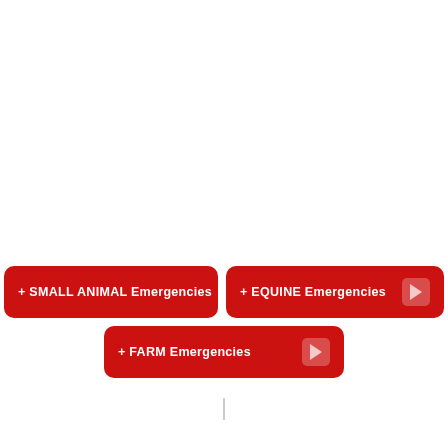+ SMALL ANIMAL Emergencies
+ EQUINE Emergencies
+ FARM Emergencies